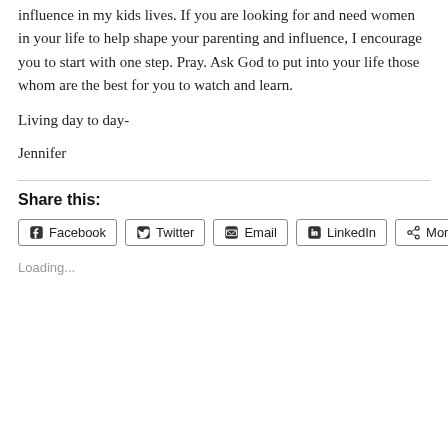influence in my kids lives. If you are looking for and need women in your life to help shape your parenting and influence, I encourage you to start with one step. Pray. Ask God to put into your life those whom are the best for you to watch and learn.
Living day to day-
Jennifer
Share this:
Facebook
Twitter
Email
LinkedIn
More
Loading...